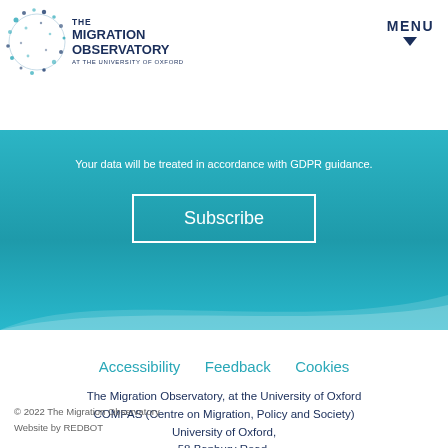THE MIGRATION OBSERVATORY AT THE UNIVERSITY OF OXFORD | MENU
Your data will be treated in accordance with GDPR guidance.
Subscribe
Accessibility   Feedback   Cookies
The Migration Observatory, at the University of Oxford
COMPAS (Centre on Migration, Policy and Society)
University of Oxford,
58 Banbury Road,
Oxford, OX2 6QS
© 2022 The Migration Observatory
Website by REDBOT